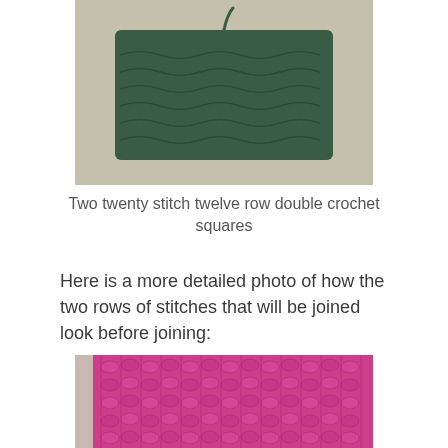[Figure (photo): A small dark green crocheted square on a light beige/grey surface, photographed from above.]
Two twenty stitch twelve row double crochet squares
Here is a more detailed photo of how the two rows of stitches that will be joined look before joining:
[Figure (photo): Close-up photograph of a bright magenta/pink crocheted fabric showing the texture of double crochet stitches in rows.]